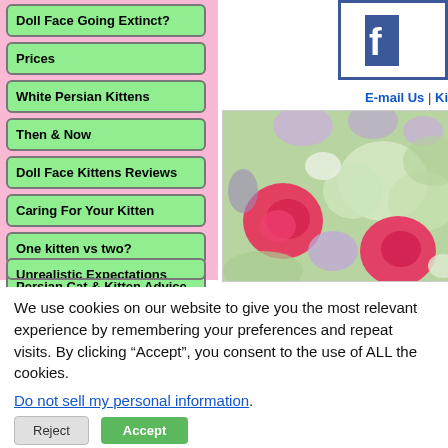Doll Face Going Extinct?
Prices
White Persian Kittens
Then & Now
Doll Face Kittens Reviews
Caring For Your Kitten
One kitten vs two?
Persian Cat & Kitten Advice
Unrealistic Expectations
E-mail Us | Ki
[Figure (photo): Close-up photo of pink roses and purple/white flowers arrangement]
We use cookies on our website to give you the most relevant experience by remembering your preferences and repeat visits. By clicking “Accept”, you consent to the use of ALL the cookies.
Do not sell my personal information.